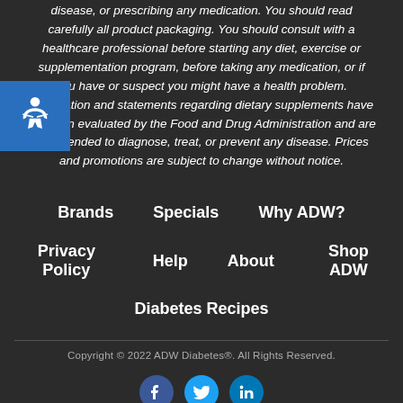disease, or prescribing any medication. You should read carefully all product packaging. You should consult with a healthcare professional before starting any diet, exercise or supplementation program, before taking any medication, or if you have or suspect you might have a health problem. Information and statements regarding dietary supplements have not been evaluated by the Food and Drug Administration and are not intended to diagnose, treat, or prevent any disease. Prices and promotions are subject to change without notice.
Brands
Specials
Why ADW?
Privacy Policy
Help
About
Shop ADW
Diabetes Recipes
Copyright © 2022 ADW Diabetes®. All Rights Reserved.